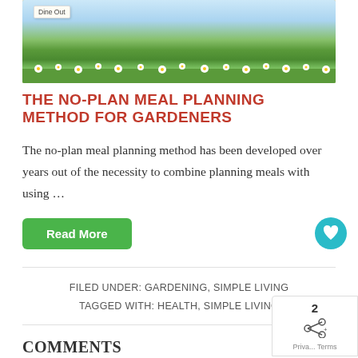[Figure (photo): Blog post header image showing a garden diorama or craft with 'Dine Out' card label, flowers, and NorthernHomestead.com watermark]
THE NO-PLAN MEAL PLANNING METHOD FOR GARDENERS
The no-plan meal planning method has been developed over years out of the necessity to combine planning meals with using ...
Read More
FILED UNDER: GARDENING, SIMPLE LIVING
TAGGED WITH: HEALTH, SIMPLE LIVING
COMMENTS